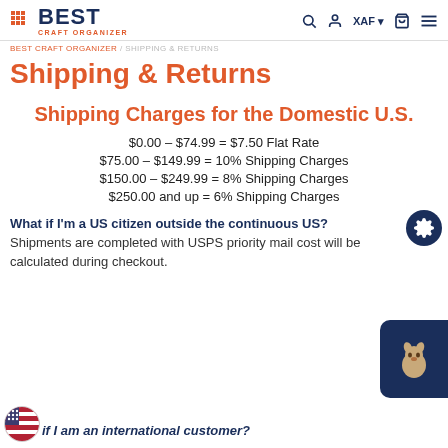BEST CRAFT ORGANIZER — navigation header with XAF currency selector
BEST CRAFT ORGANIZER / SHIPPING & RETURNS
Shipping & Returns
Shipping Charges for the Domestic U.S.
$0.00 – $74.99 = $7.50 Flat Rate
$75.00 – $149.99 = 10% Shipping Charges
$150.00 – $249.99 = 8% Shipping Charges
$250.00 and up = 6% Shipping Charges
What if I'm a US citizen outside the continuous US?
Shipments are completed with USPS priority mail cost will be calculated during checkout.
What if I am an international customer?